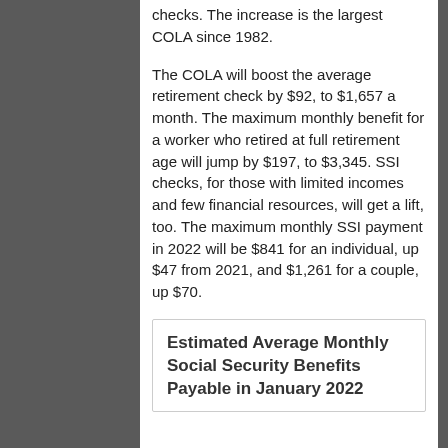checks. The increase is the largest COLA since 1982.
The COLA will boost the average retirement check by $92, to $1,657 a month. The maximum monthly benefit for a worker who retired at full retirement age will jump by $197, to $3,345. SSI checks, for those with limited incomes and few financial resources, will get a lift, too. The maximum monthly SSI payment in 2022 will be $841 for an individual, up $47 from 2021, and $1,261 for a couple, up $70.
Estimated Average Monthly Social Security Benefits Payable in January 2022